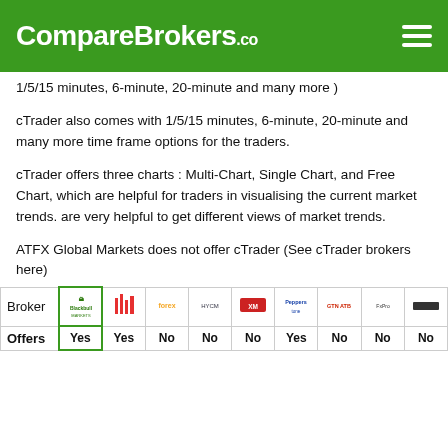CompareBrokers.co
1/5/15 minutes, 6-minute, 20-minute and many more )
cTrader also comes with 1/5/15 minutes, 6-minute, 20-minute and many more time frame options for the traders.
cTrader offers three charts : Multi-Chart, Single Chart, and Free Chart, which are helpful for traders in visualising the current market trends. are very helpful to get different views of market trends.
ATFX Global Markets does not offer cTrader (See cTrader brokers here)
| Broker |  |  |  |  |  |  |  |  |  |
| --- | --- | --- | --- | --- | --- | --- | --- | --- | --- |
| Offers | Yes | Yes | No | No | No | Yes | No | No | No |